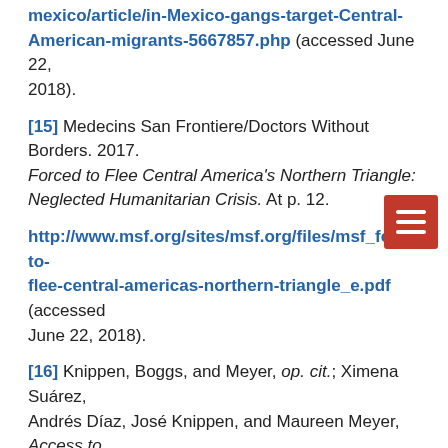mexico/article/in-Mexico-gangs-target-Central-American-migrants-5667857.php (accessed June 22, 2018).
[15] Medecins San Frontiere/Doctors Without Borders. 2017. Forced to Flee Central America's Northern Triangle: Neglected Humanitarian Crisis. At p. 12.
http://www.msf.org/sites/msf.org/files/msf_forced-to-flee-central-americas-northern-triangle_e.pdf (accessed June 22, 2018).
[16] Knippen, Boggs, and Meyer, op. cit.; Ximena Suárez, Andrés Díaz, José Knippen, and Maureen Meyer, Access to Justice for Migrants in Mexico: A Right That Exists Only on the Books. July 2017. Washington, DC: Washington Office on Latin America [and seven other organizations]. https://www.wola.org/wp-content/uploads/2017/07/Access-to-Justice-for-Migrants_July-2017.pdf (accessed June 22, 2018).
[17] Guillermina Lincoln, "El derrumbe de la COMAR y la ayuda a refugiados," Animal Politico, Jan. 18, 2018.